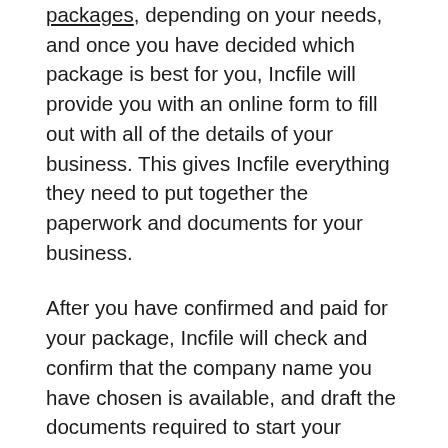packages, depending on your needs, and once you have decided which package is best for you, Incfile will provide you with an online form to fill out with all of the details of your business. This gives Incfile everything they need to put together the paperwork and documents for your business.
After you have confirmed and paid for your package, Incfile will check and confirm that the company name you have chosen is available, and draft the documents required to start your business. Once everything is ready, it will be sent to be filed with the state, and your business will become official.
The state will send your incorporation documents back to Incfile, who will upload them online for you